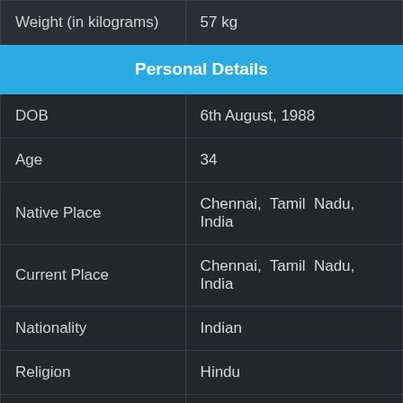| Weight (in kilograms) | 57 kg |
| Personal Details |  |
| DOB | 6th August, 1988 |
| Age | 34 |
| Native Place | Chennai, Tamil Nadu, India |
| Current Place | Chennai, Tamil Nadu, India |
| Nationality | Indian |
| Religion | Hindu |
| Hobbies | Unknown |
| Relationship Status | Unmarried |